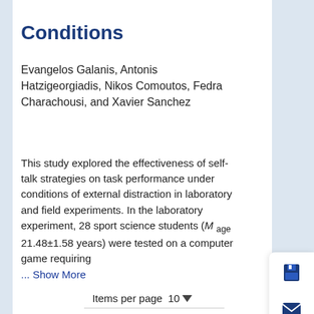experience.
Conditions
Evangelos Galanis, Antonis Hatzigeorgiadis, Nikos Comoutos, Fedra Charachousi, and Xavier Sanchez
This study explored the effectiveness of self-talk strategies on task performance under conditions of external distraction in laboratory and field experiments. In the laboratory experiment, 28 sport science students (M age 21.48±1.58 years) were tested on a computer game requiring ... Show More
Items per page 10